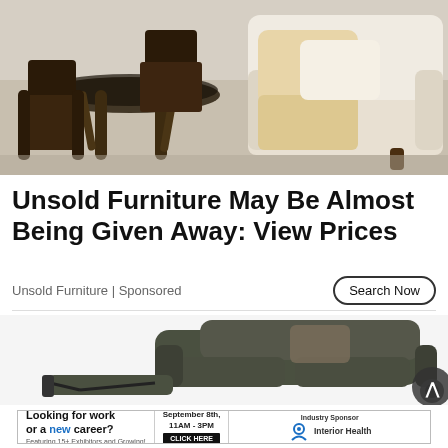[Figure (photo): Photo of furniture showroom with wooden dining table and chairs on left, cream/white upholstered armchair and sofa on right]
Unsold Furniture May Be Almost Being Given Away: View Prices
Unsold Furniture | Sponsored
Search Now
[Figure (photo): Photo of a dark olive/brown leather recliner sofa with footrest extended, on white background]
[Figure (photo): Banner advertisement: Looking for work or a new career? Featuring 15+ Exhibitors and Growing! September 8th, 11AM - 3PM CLICK HERE. Industry Sponsor: Interior Health]